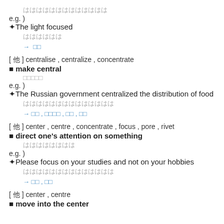[CJK characters] (Japanese)
e.g. )
✦The light focused
[CJK characters]
→  [CJK]
[ 他 ] centralise , centralize , concentrate
■ make central
[CJK characters]
e.g. )
✦The Russian government centralized the distribution of food
[CJK characters]
→ [CJK] , [CJK] , [CJK] , [CJK]
[ 他 ] center , centre , concentrate , focus , pore , rivet
■ direct one's attention on something
[CJK characters]
e.g. )
✦Please focus on your studies and not on your hobbies
[CJK characters]
→ [CJK] , [CJK]
[ 他 ] center , centre
■ move into the center